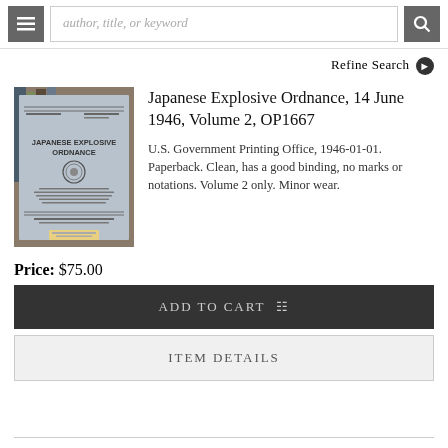author, title, or keyword
Refine Search
[Figure (photo): Photo of the cover of Japanese Explosive Ordnance book, a gray paperback with text and an emblem, sitting on a shelf with other books]
Japanese Explosive Ordnance, 14 June 1946, Volume 2, OP1667
U.S. Government Printing Office, 1946-01-01. Paperback. Clean, has a good binding, no marks or notations. Volume 2 only. Minor wear.
Price: $75.00
ADD TO CART
ITEM DETAILS